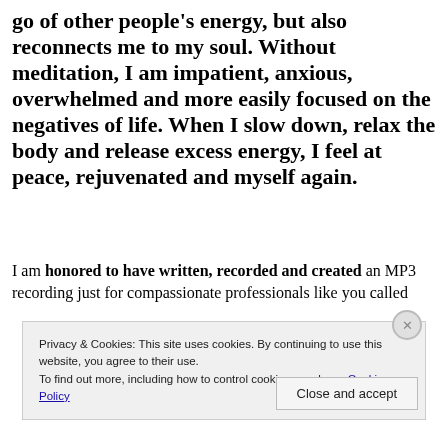go of other people's energy, but also reconnects me to my soul. Without meditation, I am impatient, anxious, overwhelmed and more easily focused on the negatives of life. When I slow down, relax the body and release excess energy, I feel at peace, rejuvenated and myself again.
I am honored to have written, recorded and created an MP3 recording just for compassionate professionals like you called
Privacy & Cookies: This site uses cookies. By continuing to use this website, you agree to their use.
To find out more, including how to control cookies, see here: Cookie Policy
Close and accept